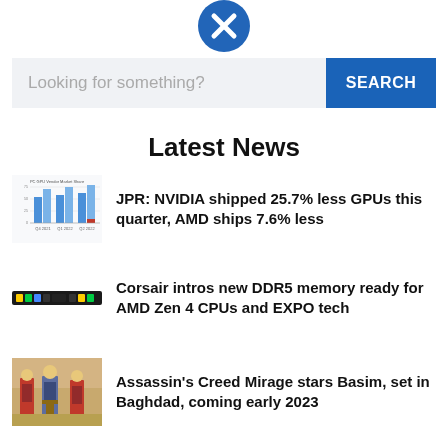[Figure (other): Blue circle with white X close button icon]
[Figure (other): Search bar with placeholder 'Looking for something?' and blue SEARCH button]
Latest News
[Figure (bar-chart): PC GPU Vendor Market Share bar chart thumbnail showing blue bars with small red element]
JPR: NVIDIA shipped 25.7% less GPUs this quarter, AMD ships 7.6% less
[Figure (other): Corsair DDR5 memory stick thumbnail with colored LEDs]
Corsair intros new DDR5 memory ready for AMD Zen 4 CPUs and EXPO tech
[Figure (illustration): Medieval illustration of figures in robes, Assassin's Creed Mirage related art]
Assassin's Creed Mirage stars Basim, set in Baghdad, coming early 2023